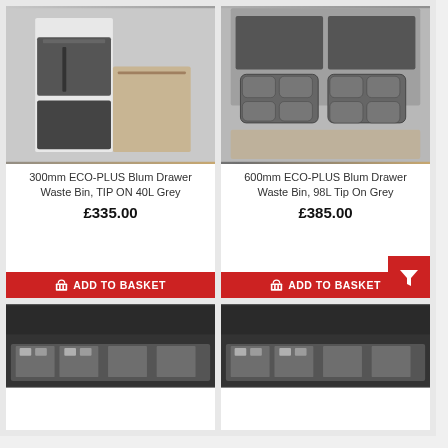[Figure (photo): 300mm ECO-PLUS Blum Drawer Waste Bin, TIP ON 40L Grey - product photo showing dark grey pull-out bin in cabinet]
300mm ECO-PLUS Blum Drawer Waste Bin, TIP ON 40L Grey
£335.00
ADD TO BASKET
[Figure (photo): 600mm ECO-PLUS Blum Drawer Waste Bin, 98L Tip On Grey - product photo showing dark grey multi-compartment drawer bin]
600mm ECO-PLUS Blum Drawer Waste Bin, 98L Tip On Grey
£385.00
ADD TO BASKET
[Figure (photo): Partial view of a drawer waste bin product - bottom of page, left]
[Figure (photo): Partial view of a drawer waste bin product - bottom of page, right]